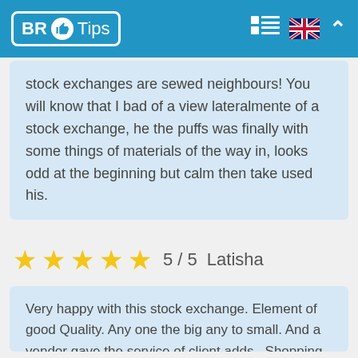BR Tips
stock exchanges are sewed neighbours! You will know that I bad of a view lateralmente of a stock exchange, he the puffs was finally with some things of materials of the way in, looks odd at the beginning but calm then take used his.
★★★★★ 5 / 5  Latisha
Very happy with this stock exchange. Element of good Quality. Any one the big any to small. And a vendor gave the service of client adds . Shopping again of this vendor